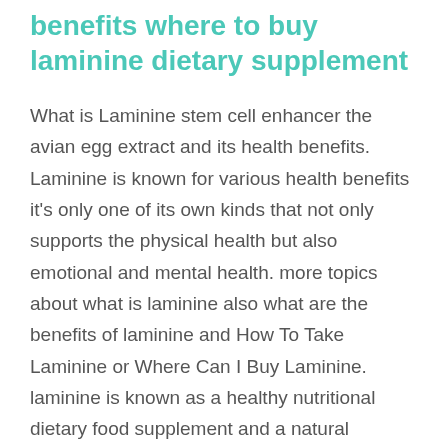benefits where to buy laminine dietary supplement
What is Laminine stem cell enhancer the avian egg extract and its health benefits. Laminine is known for various health benefits it's only one of its own kinds that not only supports the physical health but also emotional and mental health. more topics about what is laminine also what are the benefits of laminine and How To Take Laminine or Where Can I Buy Laminine. laminine is known as a healthy nutritional dietary food supplement and a natural vitamins